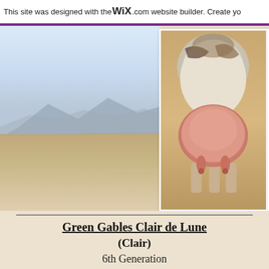This site was designed with the WIX.com website builder. Create yo
[Figure (photo): Left: landscape photo showing desert/dry lakebed with mountain silhouette in background, light blue sky. Center: rear view of a dairy goat showing full udder, taken in a barn setting. Right: partial view of another goat udder from the side.]
Green Gables Clair de Lune
(Clair)
6th Generation